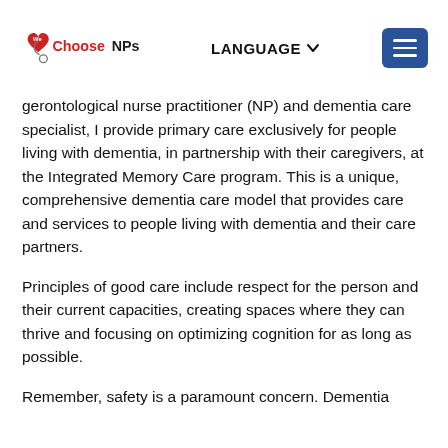We ChooseNPs | LANGUAGE | Menu
gerontological nurse practitioner (NP) and dementia care specialist, I provide primary care exclusively for people living with dementia, in partnership with their caregivers, at the Integrated Memory Care program. This is a unique, comprehensive dementia care model that provides care and services to people living with dementia and their care partners.
Principles of good care include respect for the person and their current capacities, creating spaces where they can thrive and focusing on optimizing cognition for as long as possible.
Remember, safety is a paramount concern. Dementia